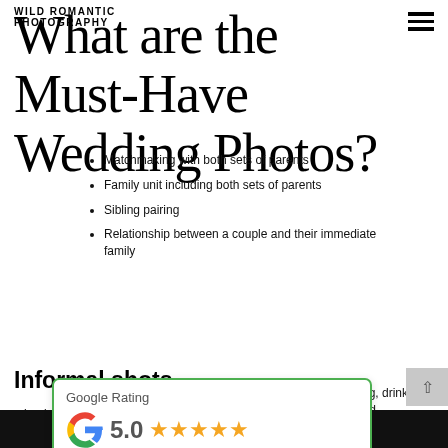WILD ROMANTIC PHOTOGRAPHY
What are the Must-Have Wedding Photos?
Matchmaking with both sets of parents
Family unit including both sets of parents
Sibling pairing
Relationship between a couple and their immediate family
Informal shots
Shots with the gang
rating, drinking, and
ch as those made in school or on sports teams, are also included.
[Figure (other): Google Rating popup widget showing 5.0 stars based on 267 reviews, with green border and Google G logo]
Phone and email icon bottom navigation bar